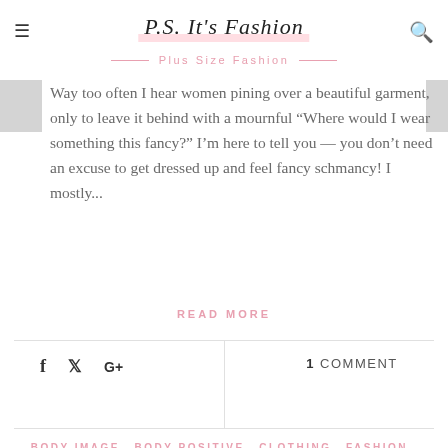P.S. It's Fashion
Plus Size Fashion
Way too often I hear women pining over a beautiful garment, only to leave it behind with a mournful “Where would I wear something this fancy?” I’m here to tell you — you don’t need an excuse to get dressed up and feel fancy schmancy! I mostly...
READ MORE
f  ᶛ  G+  |  1 COMMENT
BODY IMAGE, BODY POSITIVE, CLOTHING, FASHION, FASHION SHOW, NYFW, TRENDS, VIDEO